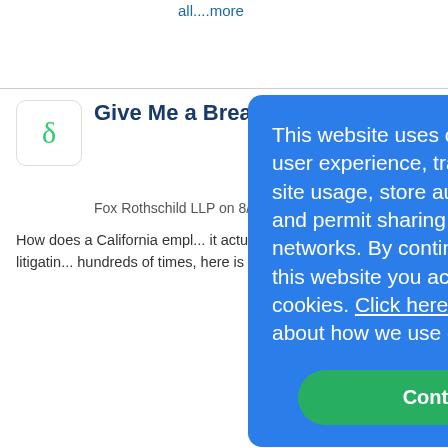all....more
Give Me a Break (A Meal Break, That Is)
Fox Rothschild LLP on 8/30...
How does a California employer prove it actually provides rest brea... enough? Well, after litigating hundreds of times, here is th... I...more
Update: Challenges to California's Arbitration Agreement Law...
Ervin Cohen & Jessup LLP o...
Employers throughout Cali... awaiting the final decision from the 9th Circuit Court of Appeals regarding the United States Chamber of
This website uses cookies to improve user experience, track anonymous site usage, store authorization tokens and permit sharing on social media networks. By continuing to browse this website you accept the use of cookies. Click here to read more about how we use cookies.